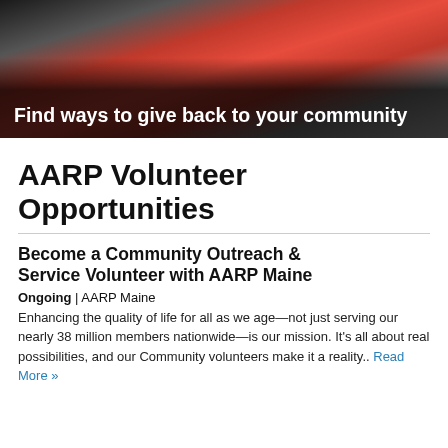[Figure (photo): Group of volunteers wearing red shirts walking together outdoors, with overlay text 'Find ways to give back to your community']
AARP Volunteer Opportunities
Become a Community Outreach & Service Volunteer with AARP Maine
Ongoing | AARP Maine
Enhancing the quality of life for all as we age—not just serving our nearly 38 million members nationwide—is our mission. It's all about real possibilities, and our Community volunteers make it a reality.. Read More »